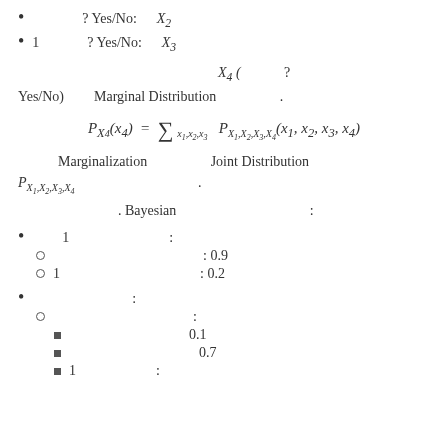• ? Yes/No: X2
• 1 ? Yes/No: X3
X4 ( ? Yes/No) Marginal Distribution .
Marginalization Joint Distribution P_{X1,X2,X3,X4} .
. Bayesian :
• 1 :
○ : 0.9
○ 1 : 0.2
• :
○ :
■ 0.1
■ 0.7
■ 1 :